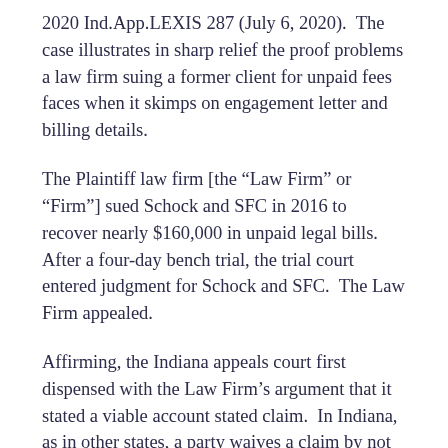2020 Ind.App.LEXIS 287 (July 6, 2020). The case illustrates in sharp relief the proof problems a law firm suing a former client for unpaid fees faces when it skimps on engagement letter and billing details.
The Plaintiff law firm [the “Law Firm” or “Firm”] sued Schock and SFC in 2016 to recover nearly $160,000 in unpaid legal bills. After a four-day bench trial, the trial court entered judgment for Schock and SFC. The Law Firm appealed.
Affirming, the Indiana appeals court first dispensed with the Law Firm’s argument that it stated a viable account stated claim. In Indiana, as in other states, a party waives a claim by not presenting it in its operative pleadings. Here, the Plaintiff waited until its post-trial brief to first raise the account stated issue. It was too late. Since account stated was